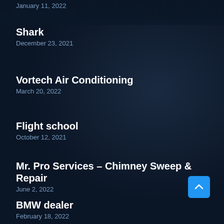January 11, 2022
Shark
December 23, 2021
Vortech Air Conditioning
March 20, 2022
Flight school
October 12, 2021
Mr. Pro Services – Chimney Sweep & Repair
June 2, 2022
BMW dealer
February 18, 2022